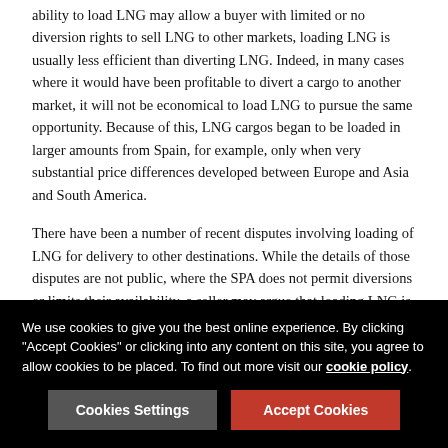ability to load LNG may allow a buyer with limited or no diversion rights to sell LNG to other markets, loading LNG is usually less efficient than diverting LNG. Indeed, in many cases where it would have been profitable to divert a cargo to another market, it will not be economical to load LNG to pursue the same opportunity. Because of this, LNG cargos began to be loaded in larger amounts from Spain, for example, only when very substantial price differences developed between Europe and Asia and South America.
There have been a number of recent disputes involving loading of LNG for delivery to other destinations. While the details of those disputes are not public, where the SPA does not permit diversions or limits their availability, a seller may argue that loading LNG is inconsistent with the parties' expectations or an attempt to evade contractual limitations. However, in many SPAs, there are no limits on what the buyer may do after it
We use cookies to give you the best online experience. By clicking "Accept Cookies" or clicking into any content on this site, you agree to allow cookies to be placed. To find out more visit our cookie policy.